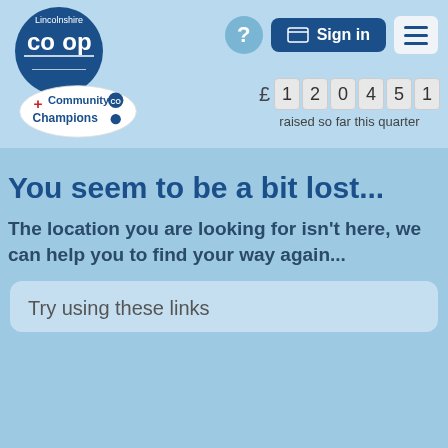[Figure (logo): Lincolnshire Co-op logo - blue oval with CO-OP text]
[Figure (logo): Community Champions badge with red cross and co-op symbol]
£120451 raised so far this quarter
You seem to be a bit lost...
The location you are looking for isn't here, we can help you to find your way again...
Try using these links